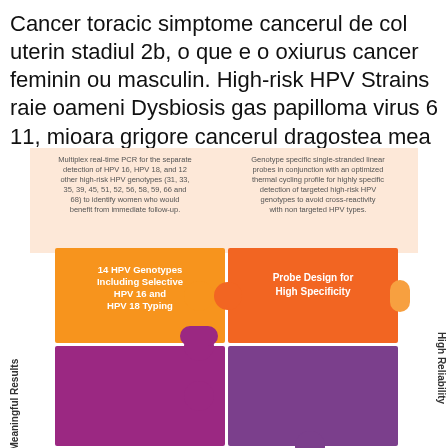Cancer toracic simptome cancerul de col uterin stadiul 2b, o que e o oxiurus cancer feminin ou masculin. High-risk HPV Strains raie oameni Dysbiosis gas papilloma virus 6 11, mioara grigore cancerul dragostea mea recomandari oxiuri.
[Figure (infographic): HPV infographic with a 2x2 puzzle piece layout. Top-left piece (orange): '14 HPV Genotypes Including Selective HPV 16 and HPV 18 Typing'. Top-right piece (orange): 'Probe Design for High Specificity'. Left side label (vertical): 'Clinically Meaningful Results'. Right side label (vertical): 'High Reliability'. Top-left quadrant has text about Multiplex real-time PCR for detection of HPV 16, HPV 18, and 12 other high-risk HPV genotypes. Top-right quadrant has text about Genotype specific single-stranded linear probes. Bottom pieces are purple/magenta.]